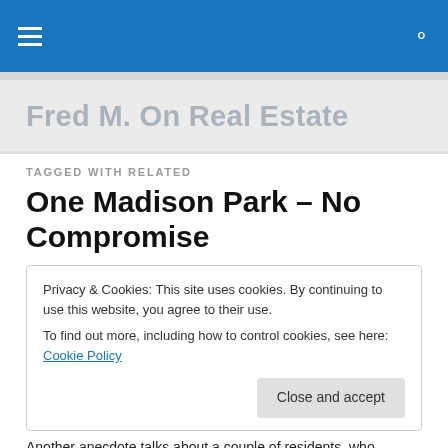Navigation bar with hamburger menu and search icon
Fred M. On Real Estate
TAGGED WITH RELATED
One Madison Park – No Compromise
Privacy & Cookies: This site uses cookies. By continuing to use this website, you agree to their use.
To find out more, including how to control cookies, see here: Cookie Policy
Close and accept
Another anecdote talks about a couple of residents, who